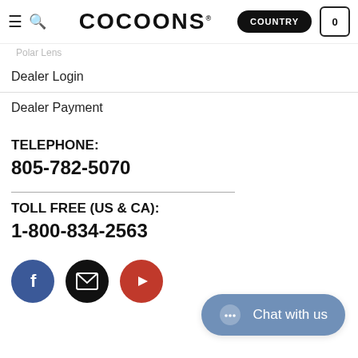COCOONS | COUNTRY | 0
Dealer Login
Dealer Payment
TELEPHONE:
805-782-5070
TOLL FREE (US & CA):
1-800-834-2563
[Figure (illustration): Social media icons: Facebook (blue circle with f), Email (black circle with envelope), YouTube (red circle with play button), and a chat widget button reading 'Chat with us']